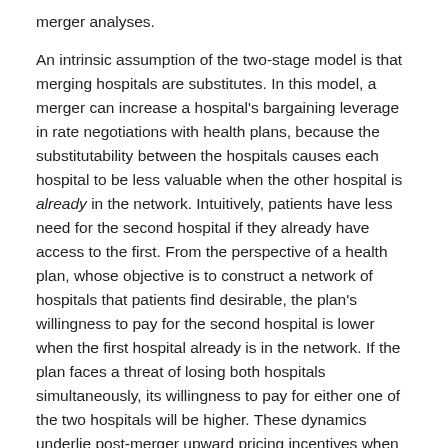merger analyses.
An intrinsic assumption of the two-stage model is that merging hospitals are substitutes. In this model, a merger can increase a hospital's bargaining leverage in rate negotiations with health plans, because the substitutability between the hospitals causes each hospital to be less valuable when the other hospital is already in the network. Intuitively, patients have less need for the second hospital if they already have access to the first. From the perspective of a health plan, whose objective is to construct a network of hospitals that patients find desirable, the plan's willingness to pay for the second hospital is lower when the first hospital already is in the network. If the plan faces a threat of losing both hospitals simultaneously, its willingness to pay for either one of the two hospitals will be higher. These dynamics underlie post-merger upward pricing incentives when hospitals are substitutes.
If the hospitals are complements, however, each hospital is more valuable if the other already is in the network. The classic heuristic that illustrates complementarities is the left-shoe/right-shoe combination. One shoe alone provides limited value to the wearer,